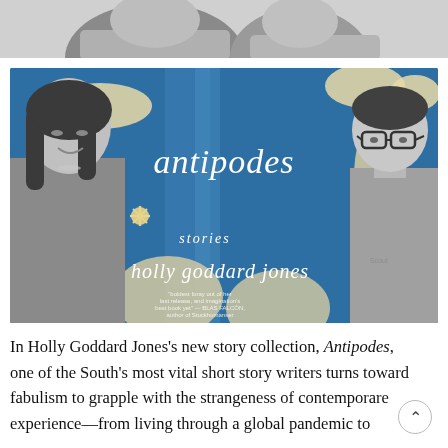[Figure (photo): Top portion of two people's heads cropped, black and white, partially visible at top of page.]
[Figure (photo): Book cover of 'Antipodes: Stories' by Holly Goddard Jones displayed in blue with cream circular shapes and two people (a woman on left, man on right) in black and white on either side of the book cover.]
In Holly Goddard Jones's new story collection, Antipodes, one of the South's most vital short story writers turns toward fabulism to grapple with the strangeness of contemporary experience—from living through a global pandemic to